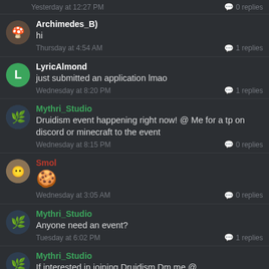Yesterday at 12:27 PM — 0 replies
Archimedes_B) — hi — Thursday at 4:54 AM — 1 replies
LyricAlmond — just submitted an application lmao — Wednesday at 8:20 PM — 1 replies
Mythri_Studio — Druidism event happening right now! @ Me for a tp on discord or minecraft to the event — Wednesday at 8:15 PM — 0 replies
Smol — 🍪 — Wednesday at 3:05 AM — 0 replies
Mythri_Studio — Anyone need an event? — Tuesday at 6:02 PM — 1 replies
Mythri_Studio — If interested in joining Druidism Dm me @ ReviveMehJett#4333 — Tuesday at 6:01 PM — 0 replies